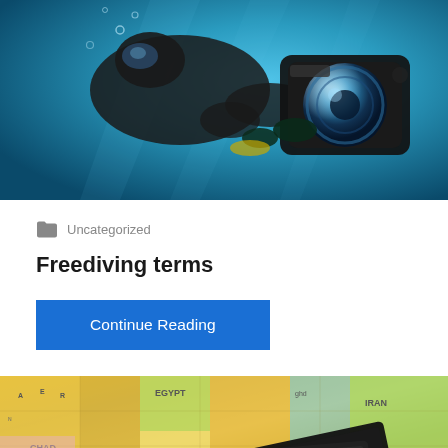[Figure (photo): Underwater freediver/photographer holding a large camera housing with dome port, photographed from below in clear blue water]
Uncategorized
Freediving terms
Continue Reading
[Figure (photo): A colorful world map with countries in yellow, green, pink, and other colors, with dark passports laid on top, partially showing text including EGYPT, CHAD, IRAN]